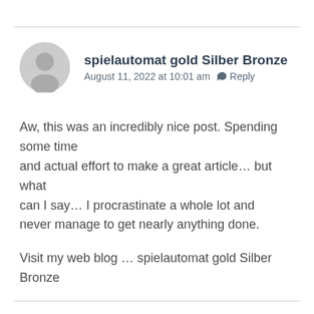spielautomat gold Silber Bronze
August 11, 2022 at 10:01 am  Reply
Aw, this was an incredibly nice post. Spending some time and actual effort to make a great article… but what can I say… I procrastinate a whole lot and never manage to get nearly anything done.
Visit my web blog … spielautomat gold Silber Bronze